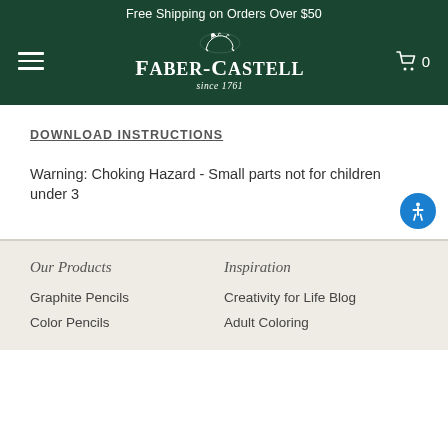Free Shipping on Orders Over $50
[Figure (logo): Faber-Castell logo with knight illustration, brand name and 'since 1761']
DOWNLOAD INSTRUCTIONS
Warning: Choking Hazard - Small parts not for children under 3
Our Products
Inspiration
Graphite Pencils
Creativity for Life Blog
Color Pencils
Adult Coloring